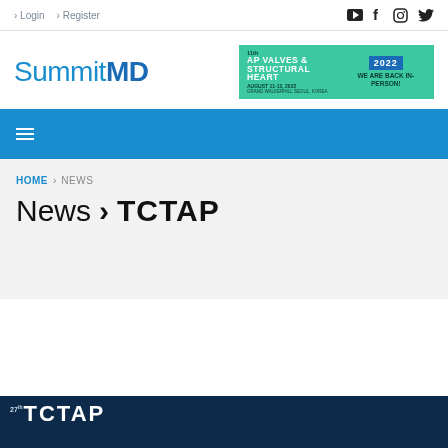Login | Register
[Figure (logo): SummitMD website logo]
[Figure (infographic): AP Valves & Structural Heart 2022 - We Are Back In-Person! August 11-12, 2022 Grand Walkerhill Seoul, Korea]
[Figure (infographic): Hamburger menu icon on blue navigation bar]
HOME > NEWS
News > TCTAP
[Figure (photo): 27th TCTAP conference image at the bottom of the page]